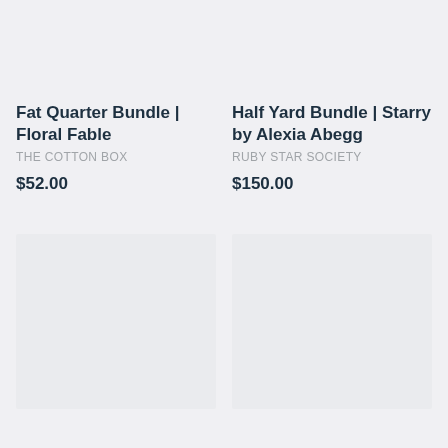[Figure (photo): Product image placeholder for Fat Quarter Bundle | Floral Fable, light gray background]
Fat Quarter Bundle | Floral Fable
THE COTTON BOX
$52.00
[Figure (photo): Product image placeholder for Half Yard Bundle | Starry by Alexia Abegg, light gray background]
Half Yard Bundle | Starry by Alexia Abegg
RUBY STAR SOCIETY
$150.00
[Figure (photo): Product image placeholder bottom left, light gray background]
[Figure (photo): Product image placeholder bottom right, light gray background]